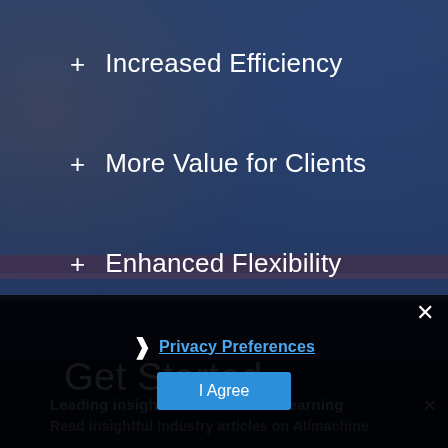[Figure (screenshot): Website screenshot with blue overlay showing a list of benefits with plus signs, a dark background with faint basketball/business imagery, and a privacy preferences cookie consent popup at the bottom]
+ Increased Efficiency
+ More Value for Clients
+ Enhanced Flexibility
Get Started
❯ Privacy Preferences
I Agree
Leading insights on AI/machine learning
Read insightful industry articles on AI/machine